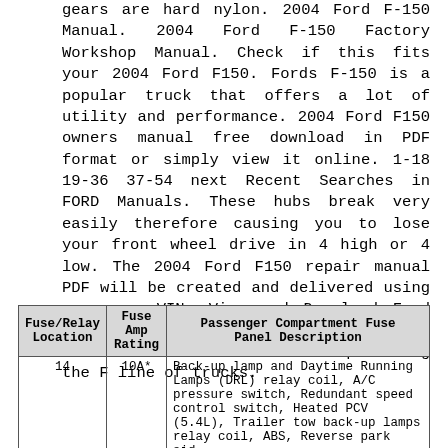gears are hard nylon. 2004 Ford F-150 Manual. 2004 Ford F-150 Factory Workshop Manual. Check if this fits your 2004 Ford F150. Fords F-150 is a popular truck that offers a lot of utility and performance. 2004 Ford F150 owners manual free download in PDF format or simply view it online. 1-18 19-36 37-54 next Recent Searches in FORD Manuals. These hubs break very easily therefore causing you to lose your front wheel drive in 4 high or 4 low. The 2004 Ford F150 repair manual PDF will be created and delivered using your car VIN. View and Download Ford 2004 F150 owners manual online. Since the late 1940s Ford has been producing the F line of trucks.
| Fuse/Relay Location | Fuse Amp Rating | Passenger Compartment Fuse Panel Description |
| --- | --- | --- |
| 14 | 10A* | Back-up lamp and Daytime Running Lamps (DRL) relay coil, A/C pressure switch, Redundant speed control switch, Heated PCV (5.4L), Trailer tow back-up lamps relay coil, ABS, Reverse park aid, |